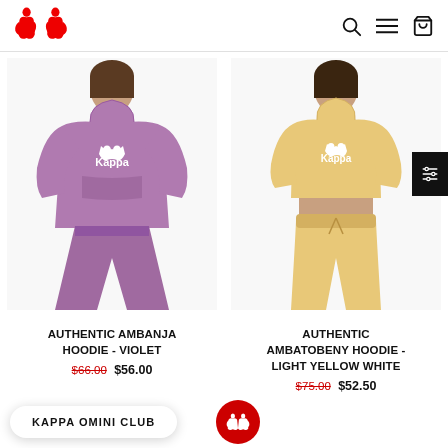[Figure (logo): Kappa red logo top left]
[Figure (photo): Woman wearing purple Kappa hoodie and matching pants]
[Figure (photo): Woman wearing yellow Kappa crop hoodie and matching sweatpants]
AUTHENTIC AMBANJA HOODIE - VIOLET
$66.00 $56.00
AUTHENTIC AMBATOBENY HOODIE - LIGHT YELLOW WHITE
$75.00 $52.50
KAPPA OMINI CLUB